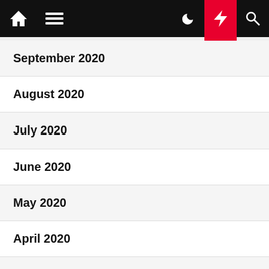Navigation bar with home, menu, dark mode, flash, and search icons
September 2020
August 2020
July 2020
June 2020
May 2020
April 2020
March 2020
February 2020
January 2020